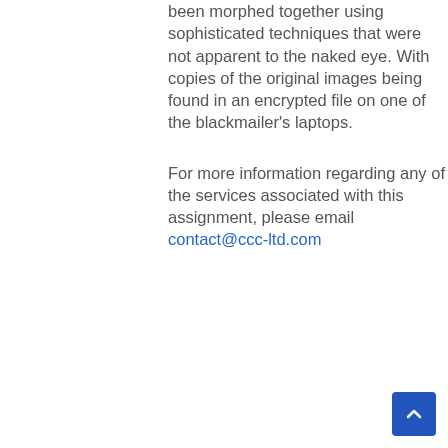been morphed together using sophisticated techniques that were not apparent to the naked eye. With copies of the original images being found in an encrypted file on one of the blackmailer's laptops.

For more information regarding any of the services associated with this assignment, please email contact@ccc-ltd.com